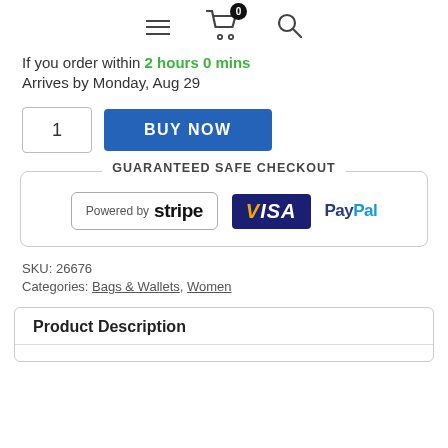Navigation bar with hamburger menu, cart (0 items), and search icon
If you order within 2 hours 0 mins
Arrives by Monday, Aug 29
1  BUY NOW
[Figure (infographic): Guaranteed Safe Checkout section with Stripe, Visa, and PayPal logos]
SKU: 26676
Categories: Bags & Wallets, Women
Product Description